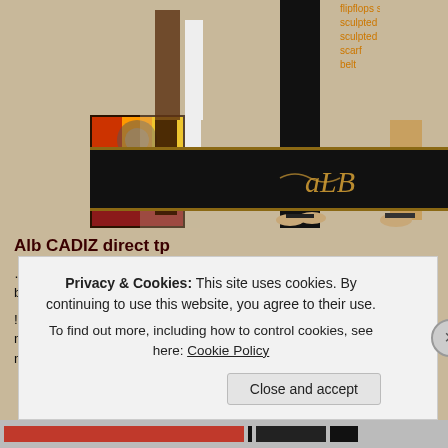[Figure (screenshot): Banner image showing Second Life virtual fashion items — figures wearing black pants and flipflops, with brand logos 'ALB' and 'AnaLee Balu' in gold script on dark background strip. Orange text listing: flipflops single, sculpted pants + feet, sculpted pants + flipflops, scarf, belt.]
Alb CADIZ direct tp
… 2 different cuffs who has attached the bare feet or flipflops, a skirt, belt and scarf you will find as well into the pack as well
!!!…and NOW THE BEST! the feet come in 3 different skin ba light medium and dark…and for to make it to your own I let the parts modify!!! – tint it how you need it…
Privacy & Cookies: This site uses cookies. By continuing to use this website, you agree to their use.
To find out more, including how to control cookies, see here: Cookie Policy
Close and accept